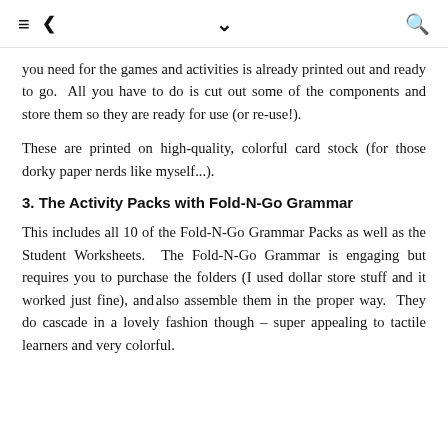≡  ⟨  ∨  🔍
you need for the games and activities is already printed out and ready to go. All you have to do is cut out some of the components and store them so they are ready for use (or re-use!).
These are printed on high-quality, colorful card stock (for those dorky paper nerds like myself...).
3. The Activity Packs with Fold-N-Go Grammar
This includes all 10 of the Fold-N-Go Grammar Packs as well as the Student Worksheets. The Fold-N-Go Grammar is engaging but requires you to purchase the folders (I used dollar store stuff and it worked just fine), and also assemble them in the proper way. They do cascade in a lovely fashion though – super appealing to tactile learners and very colorful.